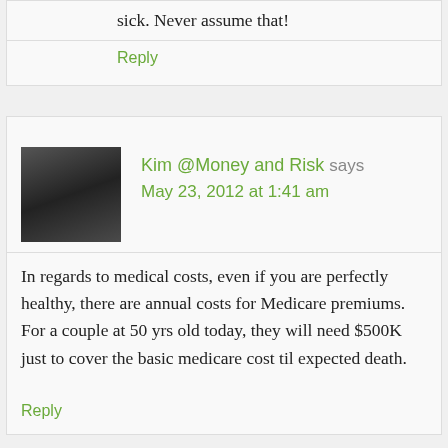sick. Never assume that!
Reply
Kim @Money and Risk says
May 23, 2012 at 1:41 am
In regards to medical costs, even if you are perfectly healthy, there are annual costs for Medicare premiums. For a couple at 50 yrs old today, they will need $500K just to cover the basic medicare cost til expected death.
Reply